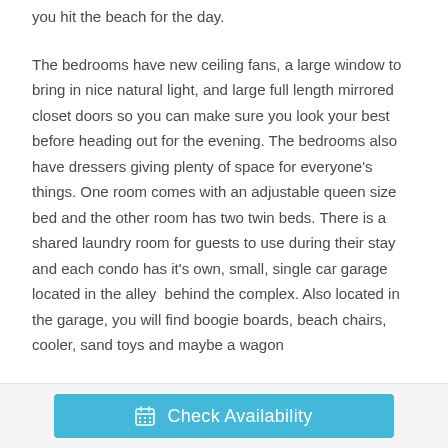you hit the beach for the day.
The bedrooms have new ceiling fans, a large window to bring in nice natural light, and large full length mirrored closet doors so you can make sure you look your best before heading out for the evening. The bedrooms also have dressers giving plenty of space for everyone's things. One room comes with an adjustable queen size bed and the other room has two twin beds. There is a shared laundry room for guests to use during their stay and each condo has it's own, small, single car garage located in the alley  behind the complex. Also located in the garage, you will find boogie boards, beach chairs, cooler, sand toys and maybe a wagon